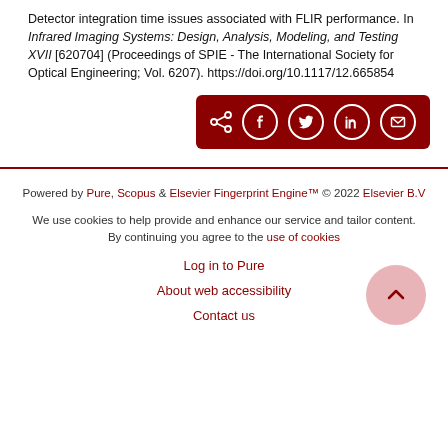Detector integration time issues associated with FLIR performance. In Infrared Imaging Systems: Design, Analysis, Modeling, and Testing XVII [620704] (Proceedings of SPIE - The International Society for Optical Engineering; Vol. 6207). https://doi.org/10.1117/12.665854
[Figure (other): Dark red share bar with share icon and social media icons: Facebook, Twitter, LinkedIn, Email]
Powered by Pure, Scopus & Elsevier Fingerprint Engine™ © 2022 Elsevier B.V
We use cookies to help provide and enhance our service and tailor content. By continuing you agree to the use of cookies
Log in to Pure
About web accessibility
Contact us